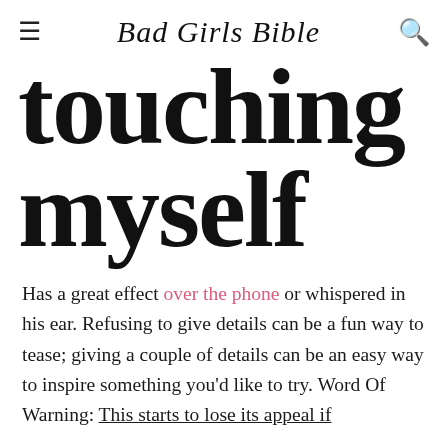Bad Girls Bible
touching myself
Has a great effect over the phone or whispered in his ear. Refusing to give details can be a fun way to tease; giving a couple of details can be an easy way to inspire something you'd like to try. Word Of Warning: This starts to lose its appeal if